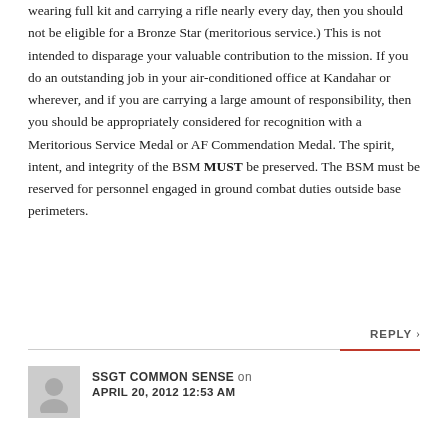wearing full kit and carrying a rifle nearly every day, then you should not be eligible for a Bronze Star (meritorious service.) This is not intended to disparage your valuable contribution to the mission. If you do an outstanding job in your air-conditioned office at Kandahar or wherever, and if you are carrying a large amount of responsibility, then you should be appropriately considered for recognition with a Meritorious Service Medal or AF Commendation Medal. The spirit, intent, and integrity of the BSM MUST be preserved. The BSM must be reserved for personnel engaged in ground combat duties outside base perimeters.
REPLY ›
SSGT COMMON SENSE on APRIL 20, 2012 12:53 AM